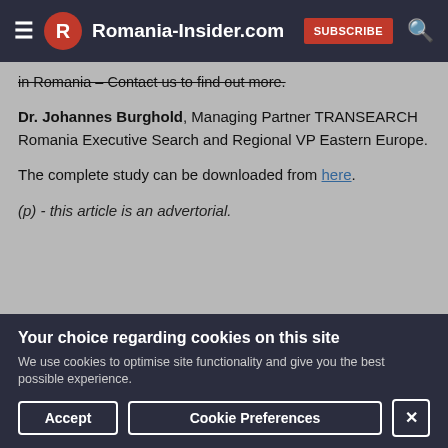Romania-Insider.com  SUBSCRIBE
in Romania – Contact us to find out more.
Dr. Johannes Burghold, Managing Partner TRANSEARCH Romania Executive Search and Regional VP Eastern Europe.
The complete study can be downloaded from here.
(p) - this article is an advertorial.
Your choice regarding cookies on this site
We use cookies to optimise site functionality and give you the best possible experience.